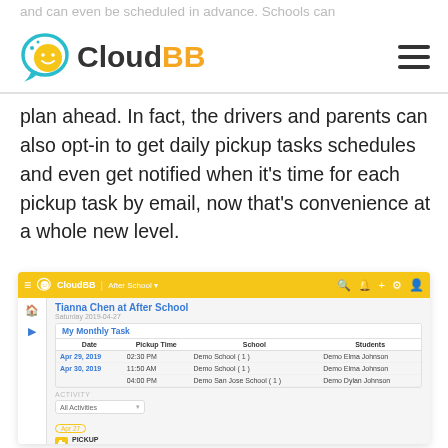and can even be scheduled in advance. Schools can
[Figure (logo): CloudBB logo with teal speech bubble and yellow smiley face icon, bold text 'Cloud' in dark gray and 'BB' in orange/yellow, hamburger menu icon on the right]
plan ahead. In fact, the drivers and parents can also opt-in to get daily pickup tasks schedules and even get notified when it's time for each pickup task by email, now that's convenience at a whole new level.
[Figure (screenshot): CloudBB app screenshot showing 'Tianna Chen at After School' page with My Monthly Task table listing pickup times and students for Apr 29 2019 and Apr 30 2019, and an Activity section showing PICKUP entries]